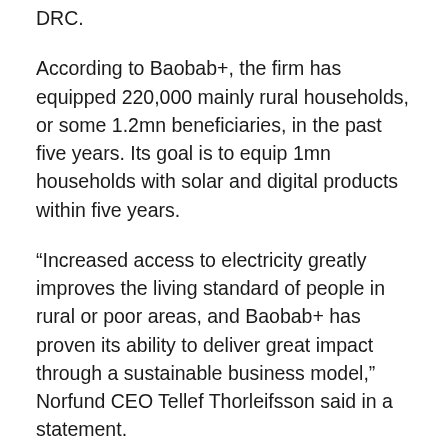DRC.
According to Baobab+, the firm has equipped 220,000 mainly rural households, or some 1.2mn beneficiaries, in the past five years. Its goal is to equip 1mn households with solar and digital products within five years.
“Increased access to electricity greatly improves the living standard of people in rural or poor areas, and Baobab+ has proven its ability to deliver great impact through a sustainable business model,” Norfund CEO Tellef Thorleifsson said in a statement.
“Norfund is looking forward to supporting the company in bringing affordable solar energy to even more households and expanding into new markets through our first investment in the solar home system space in Francophone Africa,” Thorleifsson said.